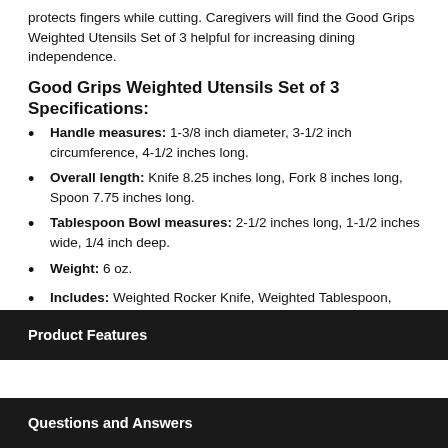protects fingers while cutting. Caregivers will find the Good Grips Weighted Utensils Set of 3 helpful for increasing dining independence.
Good Grips Weighted Utensils Set of 3 Specifications:
Handle measures: 1-3/8 inch diameter, 3-1/2 inch circumference, 4-1/2 inches long.
Overall length: Knife 8.25 inches long, Fork 8 inches long, Spoon 7.75 inches long.
Tablespoon Bowl measures: 2-1/2 inches long, 1-1/2 inches wide, 1/4 inch deep.
Weight: 6 oz.
Includes: Weighted Rocker Knife, Weighted Tablespoon, Weighted Fork.
Material: Latex Free.
Product Features
Questions and Answers